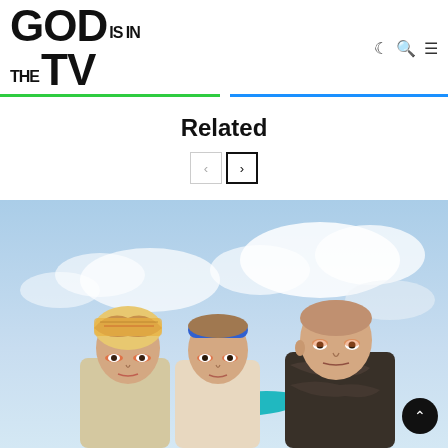GOD IS IN THE TV — navigation header with logo and icons
Related
[Figure (photo): Three young people posed together against a cloudy sky background. Left person wears a patterned headscarf, middle person wears a blue headband, right person has a shaved head and wears a dark patterned shirt. The middle person has their arm in a teal sleeve draped over the right person's shoulder.]